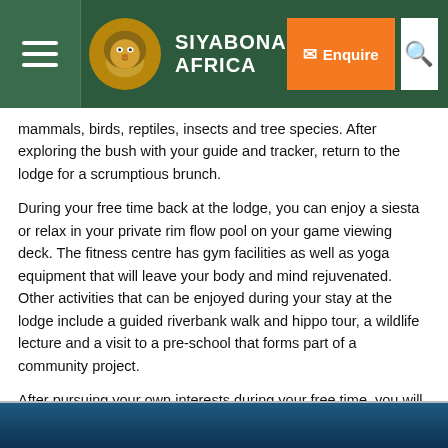SIYABONA AFRICA
mammals, birds, reptiles, insects and tree species. After exploring the bush with your guide and tracker, return to the lodge for a scrumptious brunch.
During your free time back at the lodge, you can enjoy a siesta or relax in your private rim flow pool on your game viewing deck. The fitness centre has gym facilities as well as yoga equipment that will leave your body and mind rejuvenated. Other activities that can be enjoyed during your stay at the lodge include a guided riverbank walk and hippo tour, a wildlife lecture and a visit to a pre-school that forms part of a community project.
After pursuing your own interests during your free time, you will enjoy an afternoon tea with some snacks before setting out on your afternoon game drive. If you desire a private tour for two, this can be arranged at an additional cost.
Afternoon game drives stop for sundowners and extend into the evenings, as the nocturnal creatures reveal themselves to your guide's spotlight. If you're lucky, you might witness the predators on the prowl.
[Figure (photo): Dark blue toned wildlife photo strip at bottom of page]